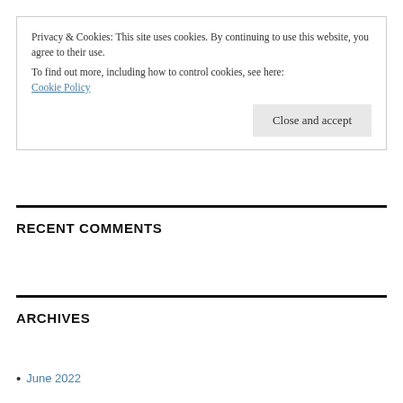Privacy & Cookies: This site uses cookies. By continuing to use this website, you agree to their use.
To find out more, including how to control cookies, see here: Cookie Policy
RECENT COMMENTS
ARCHIVES
June 2022